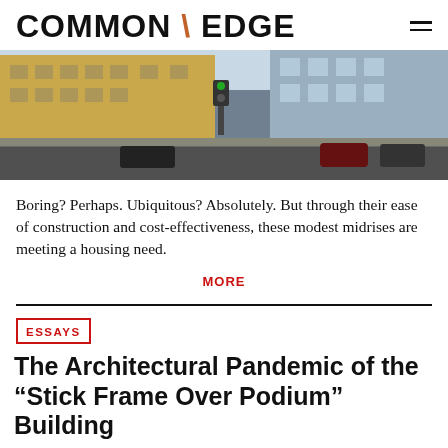COMMON \ EDGE
[Figure (photo): Street-level photo of modern mixed-use midrise buildings with pedestrians and cars at an urban intersection]
Boring? Perhaps. Ubiquitous? Absolutely. But through their ease of construction and cost-effectiveness, these modest midrises are meeting a housing need.
MORE
ESSAYS
The Architectural Pandemic of the “Stick Frame Over Podium” Building